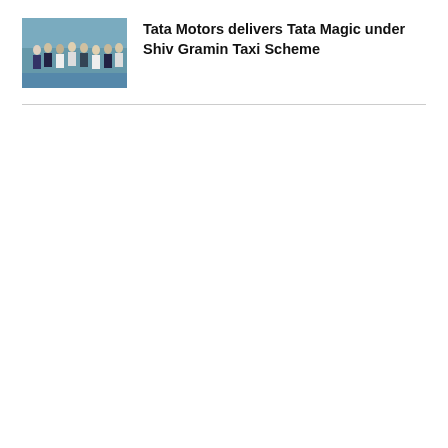[Figure (photo): A group of people standing outdoors, appears to be an event or ceremony related to vehicle delivery]
Tata Motors delivers Tata Magic under Shiv Gramin Taxi Scheme